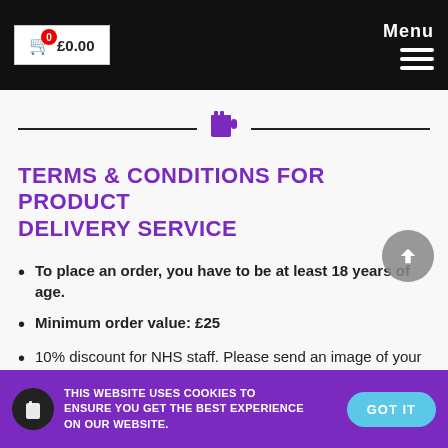£0.00  Menu
[Figure (illustration): Purple beer mug icon centered between two horizontal divider lines]
TERMS & CONDITIONS FOR PRODUCT DELIVERY SERVICE
To place an order, you have to be at least 18 years of age.
Minimum order value: £25
10% discount for NHS staff. Please send an image of your ID to: shop@twotowersbrewery.co.uk
THIS WEBSITE USES COOKIES TO ENSURE YOU GET THE BEST EXPERIENCE ON OUR WEBSITE.  GOT IT